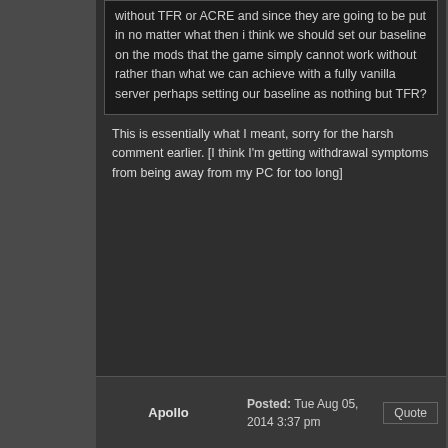without TFR or ACRE and since they are going to be put in no matter what then i think we should set our baseline on the mods that the game simply cannot work without rather than what we can achieve with a fully vanilla server perhaps setting our baseline as nothing but TFR?
This is essentially what I meant, sorry for the harsh comment earlier. [I think I'm getting withdrawal symptoms from being away from my PC for too long]
Apollo
Posted: Tue Aug 05, 2014 3:37 pm
Quote